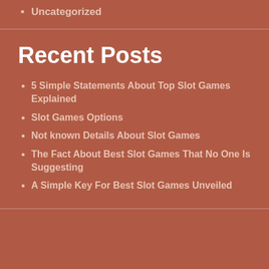Uncategorized
Recent Posts
5 Simple Statements About Top Slot Games Explained
Slot Games Options
Not known Details About Slot Games
The Fact About Best Slot Games That No One Is Suggesting
A Simple Key For Best Slot Games Unveiled